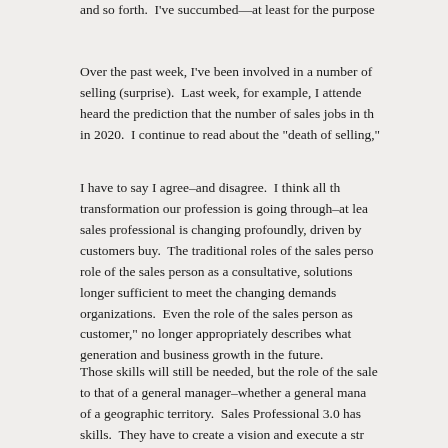and so forth. I've succumbed—at least for the purpose
Over the past week, I've been involved in a number of conversations about selling (surprise). Last week, for example, I attended a conference and heard the prediction that the number of sales jobs in the US will decline by 1M in 2020. I continue to read about the "death of selling,"
I have to say I agree–and disagree. I think all the discussion about the transformation our profession is going through–at least the role of the sales professional is changing profoundly, driven by changes in how our customers buy. The traditional roles of the sales person are changing. The role of the sales person as a consultative, solutions seller is no longer sufficient to meet the changing demands of customers and organizations. Even the role of the sales person as a "trusted advisor to the customer," no longer appropriately describes what we need to do for revenue generation and business growth in the future.
Those skills will still be needed, but the role of the sales professional is closer to that of a general manager–whether a general manager of an account or of a geographic territory. Sales Professional 3.0 has to have all those skills. They have to create a vision and execute a strategy for revenue penetration and growth within their assigned customers or territories—getting the right resources in front of the right customers